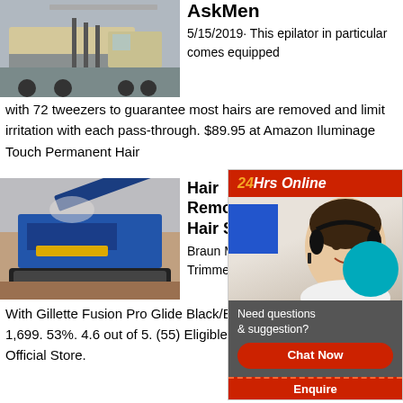[Figure (photo): Image of a large industrial truck or vehicle with equipment attached]
AskMen
5/15/2019· This epilator in particular comes equipped with 72 tweezers to guarantee most hairs are removed and limit irritation with each pass-through. $89.95 at Amazon Iluminage Touch Permanent Hair
[Figure (photo): Image of a blue industrial mining or quarrying machine on rocky terrain]
Hair Removal @ Hair Shave
Braun MGK5 Trimmer Mul With Gillette Fusion Pro Glide Black/Blue 1,699. 53%. 4.6 out of 5. (55) Eligible for Official Store.
[Figure (infographic): Chat widget overlay showing 24Hrs Online banner in red, a woman with headset, blue square, teal circle, 'Need questions & suggestion?' text, Chat Now button, and Enquire label]